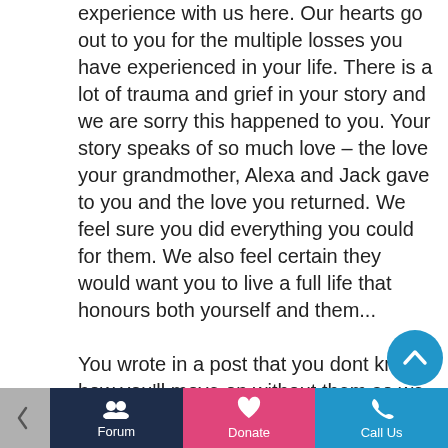thank you for sharing your experience with us here. Our hearts go out to you for the multiple losses you have experienced in your life. There is a lot of trauma and grief in your story and we are sorry this happened to you. Your story speaks of so much love – the love your grandmother, Alexa and Jack gave to you and the love you returned. We feel sure you did everything you could for them. We also feel certain they would want you to live a full life that honours both yourself and them...

You wrote in a post that you dont know how you'll move on without them so we want to
Forum | Donate | Call Us